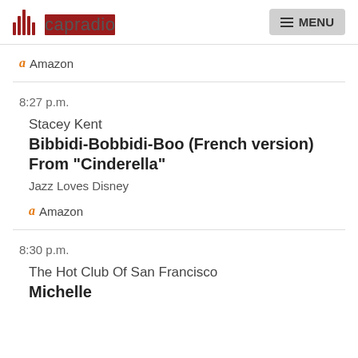capradio  MENU
Amazon
8:27 p.m.
Stacey Kent
Bibbidi-Bobbidi-Boo (French version) From "Cinderella"
Jazz Loves Disney
Amazon
8:30 p.m.
The Hot Club Of San Francisco
Michelle